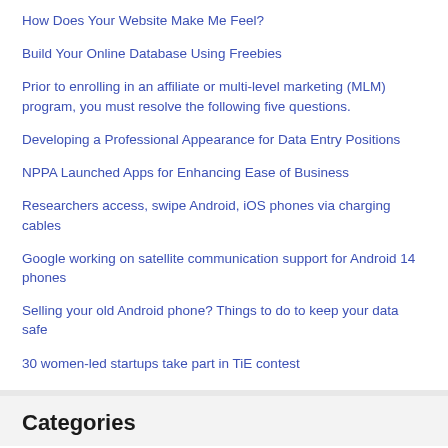How Does Your Website Make Me Feel?
Build Your Online Database Using Freebies
Prior to enrolling in an affiliate or multi-level marketing (MLM) program, you must resolve the following five questions.
Developing a Professional Appearance for Data Entry Positions
NPPA Launched Apps for Enhancing Ease of Business
Researchers access, swipe Android, iOS phones via charging cables
Google working on satellite communication support for Android 14 phones
Selling your old Android phone? Things to do to keep your data safe
30 women-led startups take part in TiE contest
Categories